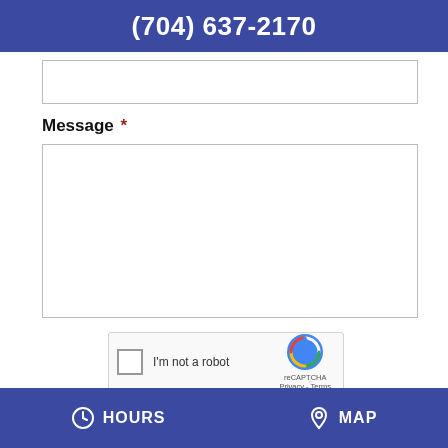(704) 637-2170
Message *
[Figure (infographic): reCAPTCHA widget with checkbox labeled 'I'm not a robot' and reCAPTCHA logo]
Submit
HOURS  MAP